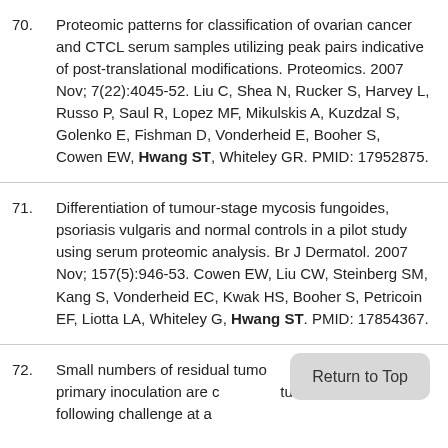70. Proteomic patterns for classification of ovarian cancer and CTCL serum samples utilizing peak pairs indicative of post-translational modifications. Proteomics. 2007 Nov; 7(22):4045-52. Liu C, Shea N, Rucker S, Harvey L, Russo P, Saul R, Lopez MF, Mikulskis A, Kuzdzal S, Golenko E, Fishman D, Vonderheid E, Booher S, Cowen EW, Hwang ST, Whiteley GR. PMID: 17952875.
71. Differentiation of tumour-stage mycosis fungoides, psoriasis vulgaris and normal controls in a pilot study using serum proteomic analysis. Br J Dermatol. 2007 Nov; 157(5):946-53. Cowen EW, Liu CW, Steinberg SM, Kang S, Vonderheid EC, Kwak HS, Booher S, Petricoin EF, Liotta LA, Whiteley G, Hwang ST. PMID: 17854367.
72. Small numbers of residual tumor cells at the site of primary inoculation are critical for tumor immunity following challenge at a